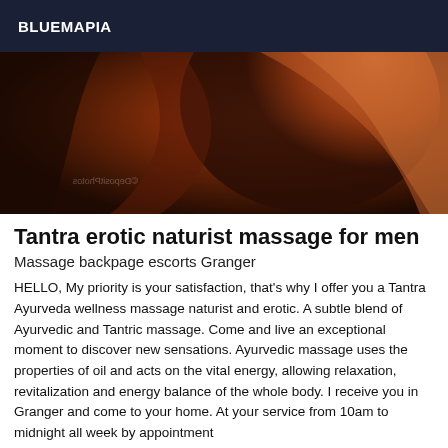BLUEMAPIA
[Figure (photo): Close-up abstract warm-toned photograph with reddish-brown background and curved organic shapes, with a mirrored watermark text in the lower left corner reading 'DepositPhotos']
Tantra erotic naturist massage for men
Massage backpage escorts Granger
HELLO, My priority is your satisfaction, that's why I offer you a Tantra Ayurveda wellness massage naturist and erotic. A subtle blend of Ayurvedic and Tantric massage. Come and live an exceptional moment to discover new sensations. Ayurvedic massage uses the properties of oil and acts on the vital energy, allowing relaxation, revitalization and energy balance of the whole body. I receive you in Granger and come to your home. At your service from 10am to midnight all week by appointment